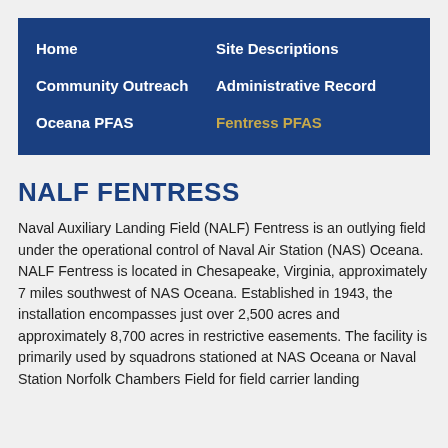Home | Site Descriptions | Community Outreach | Administrative Record | Oceana PFAS | Fentress PFAS
NALF FENTRESS
Naval Auxiliary Landing Field (NALF) Fentress is an outlying field under the operational control of Naval Air Station (NAS) Oceana. NALF Fentress is located in Chesapeake, Virginia, approximately 7 miles southwest of NAS Oceana. Established in 1943, the installation encompasses just over 2,500 acres and approximately 8,700 acres in restrictive easements. The facility is primarily used by squadrons stationed at NAS Oceana or Naval Station Norfolk Chambers Field for field carrier landing practice (Malcolm Pirnie, 2003).